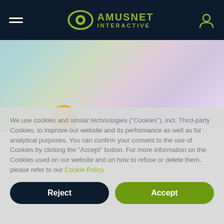Amusnet Interactive
[Figure (photo): Blurred pastel-colored hero background with a golden/orange cookie or coin partially visible at the bottom left]
We use cookies and similar technologies ("Cookies"), incl. Third-party Cookies, to improve our website and its performance as well as for analytical purposes. You can confirm your consent to the use of Cookies by clicking the "Accept" button. For more information on the Cookies used on our website and on how to refuse or delete them, please refer to our Cookie Policy
Reject
Accept